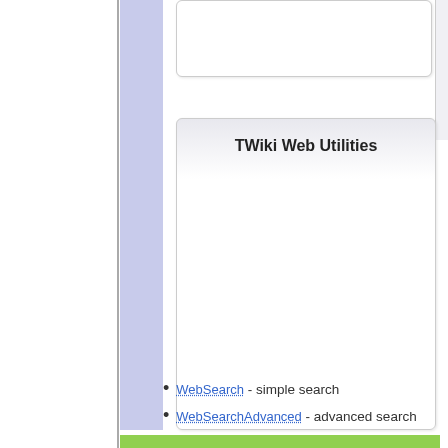TWiki Web Utilities
WebSearch - simple search
WebSearchAdvanced - advanced search